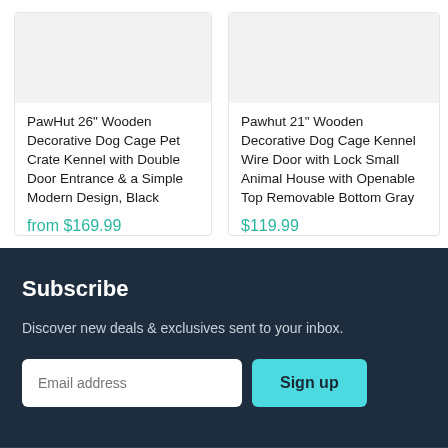PawHut 26" Wooden Decorative Dog Cage Pet Crate Kennel with Double Door Entrance & a Simple Modern Design, Black
from $169.99
Pawhut 21" Wooden Decorative Dog Cage Kennel Wire Door with Lock Small Animal House with Openable Top Removable Bottom Gray
$119.99
Subscribe
Discover new deals & exclusives sent to your inbox.